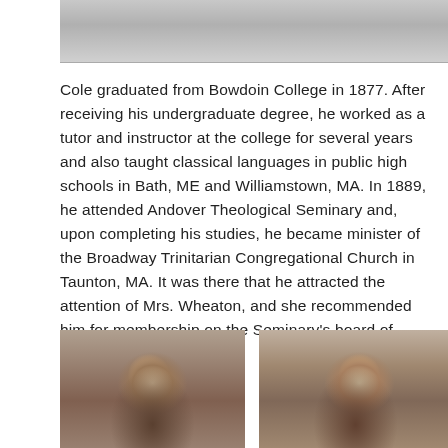[Figure (photo): Partial view of a historical photograph at the top of the page, showing a light gray/white background portion]
Cole graduated from Bowdoin College in 1877. After receiving his undergraduate degree, he worked as a tutor and instructor at the college for several years and also taught classical languages in public high schools in Bath, ME and Williamstown, MA. In 1889, he attended Andover Theological Seminary and, upon completing his studies, he became minister of the Broadway Trinitarian Congregational Church in Taunton, MA. It was there that he attracted the attention of Mrs. Wheaton, and she recommended him for membership on the Seminary's board of trustees.
[Figure (photo): Sepia-toned historical portrait photograph of a man with a beard, facing slightly left]
[Figure (photo): Sepia-toned historical portrait photograph of a man with a fuller beard, facing slightly right]